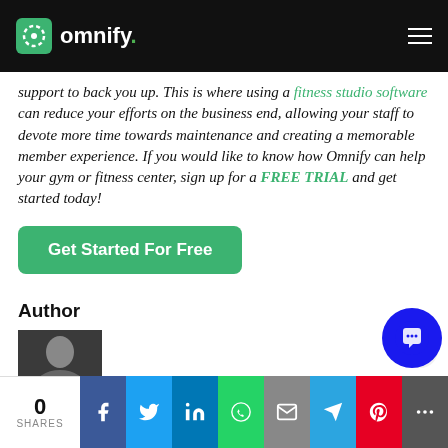omnify.
support to back you up. This is where using a fitness studio software can reduce your efforts on the business end, allowing your staff to devote more time towards maintenance and creating a memorable member experience. If you would like to know how Omnify can help your gym or fitness center, sign up for a FREE TRIAL and get started today!
Get Started For Free
Author
[Figure (photo): Author headshot photo thumbnail]
0 SHARES | Facebook | Twitter | LinkedIn | WhatsApp | Email | Telegram | Pinterest | More